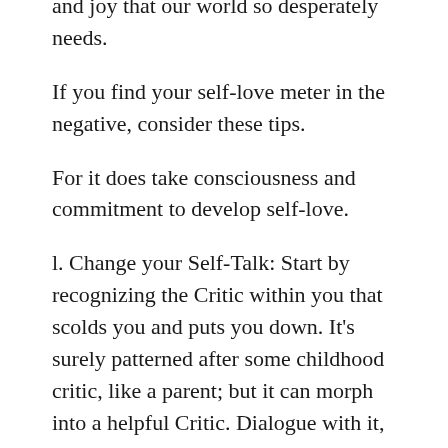and joy that our world so desperately needs.
If you find your self-love meter in the negative, consider these tips.
For it does take consciousness and commitment to develop self-love.
l. Change your Self-Talk: Start by recognizing the Critic within you that scolds you and puts you down. It’s surely patterned after some childhood critic, like a parent; but it can morph into a helpful Critic. Dialogue with it, and insist